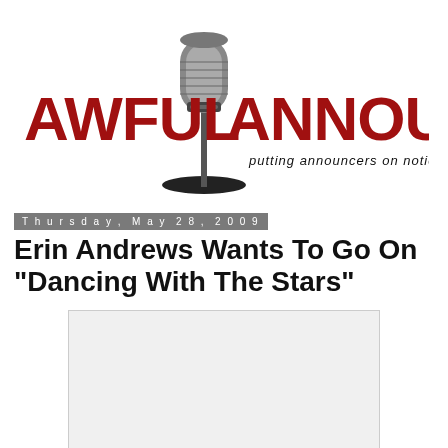[Figure (logo): Awful Announcing logo with vintage microphone graphic, bold red text reading 'AWFUL ANNOUNCING' and tagline 'putting announcers on notice since 2006']
Thursday, May 28, 2009
Erin Andrews Wants To Go On "Dancing With The Stars"
[Figure (photo): Blank/white image placeholder below the article title]